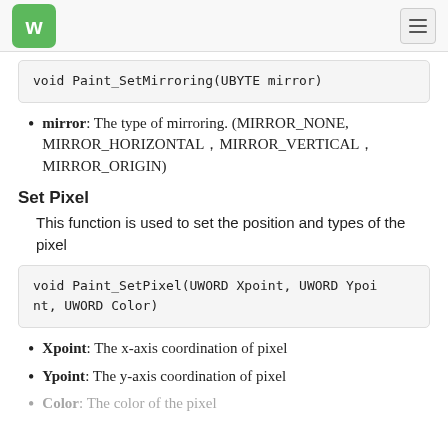Waveshare logo and hamburger menu
void Paint_SetMirroring(UBYTE mirror)
mirror: The type of mirroring. (MIRROR_NONE, MIRROR_HORIZONTAL，MIRROR_VERTICAL，MIRROR_ORIGIN)
Set Pixel
This function is used to set the position and types of the pixel
void Paint_SetPixel(UWORD Xpoint, UWORD Ypoint, UWORD Color)
Xpoint: The x-axis coordination of pixel
Ypoint: The y-axis coordination of pixel
Color: The color of the pixel